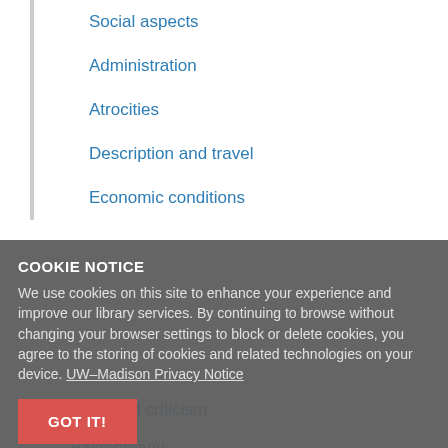Social aspects
Administration
Atrocities
Description and travel
Economic conditions
History and criticism
Paleobotany
Rubens, Peter Paul, 1577-1640
Social conditions
Study and teaching
Unemployment
COOKIE NOTICE
We use cookies on this site to enhance your experience and improve our library services. By continuing to browse without changing your browser settings to block or delete cookies, you agree to the storing of cookies and related technologies on your device. UW–Madison Privacy Notice
GOT IT!